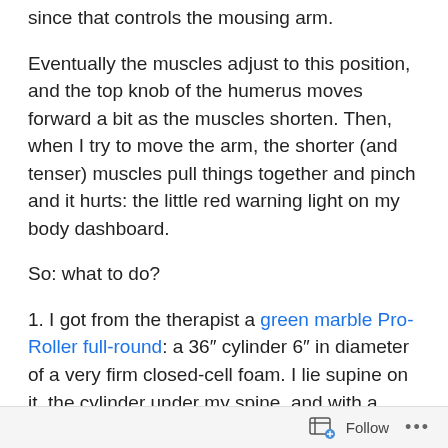since that controls the mousing arm.
Eventually the muscles adjust to this position, and the top knob of the humerus moves forward a bit as the muscles shorten. Then, when I try to move the arm, the shorter (and tenser) muscles pull things together and pinch and it hurts: the little red warning light on my body dashboard.
So: what to do?
1. I got from the therapist a green marble Pro-Roller full-round: a 36″ cylinder 6″ in diameter of a very firm closed-cell foam. I lie supine on it, the cylinder under my spine, and with a folded bath towel (or two) to keep my head level (not elevated). Ten minutes lying on the Pro-Roller, then two minutes lying flat on the floor: it helps my
Follow ...